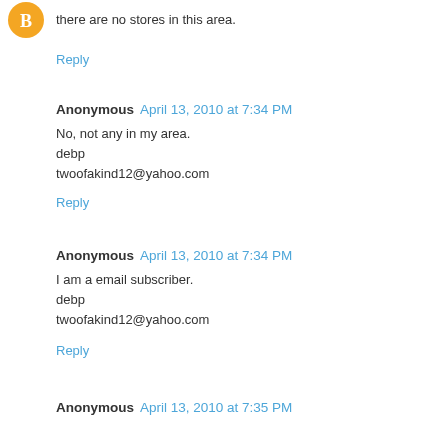[Figure (illustration): Orange circle avatar with letter B (Blogger icon)]
there are no stores in this area.
Reply
Anonymous  April 13, 2010 at 7:34 PM
No, not any in my area.
debp
twoofakind12@yahoo.com
Reply
Anonymous  April 13, 2010 at 7:34 PM
I am a email subscriber.
debp
twoofakind12@yahoo.com
Reply
Anonymous  April 13, 2010 at 7:35 PM